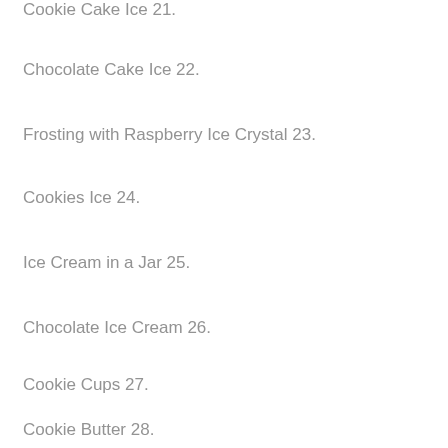Cookie Cake Ice 21.
Chocolate Cake Ice 22.
Frosting with Raspberry Ice Crystal 23.
Cookies Ice 24.
Ice Cream in a Jar 25.
Chocolate Ice Cream 26.
Cookie Cups 27.
Cookie Butter 28.
Cookie Frosting 29.